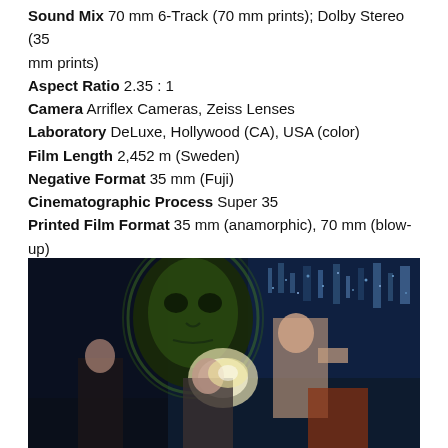Sound Mix 70 mm 6-Track (70 mm prints); Dolby Stereo (35 mm prints)
Aspect Ratio 2.35 : 1
Camera Arriflex Cameras, Zeiss Lenses
Laboratory DeLuxe, Hollywood (CA), USA (color)
Film Length 2,452 m (Sweden)
Negative Format 35 mm (Fuji)
Cinematographic Process Super 35
Printed Film Format 35 mm (anamorphic), 70 mm (blow-up)
[Figure (photo): A movie still showing action scene with multiple characters against a nighttime cityscape background, featuring a large face in the background and actors in the foreground.]